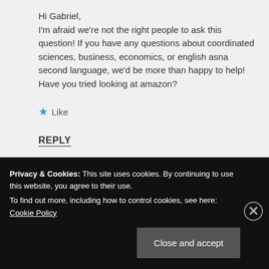Hi Gabriel, I'm afraid we're not the right people to ask this question! If you have any questions about coordinated sciences, business, economics, or english asna second language, we'd be more than happy to help! Have you tried looking at amazon?
★ Like
REPLY
Privacy & Cookies: This site uses cookies. By continuing to use this website, you agree to their use. To find out more, including how to control cookies, see here: Cookie Policy
Close and accept